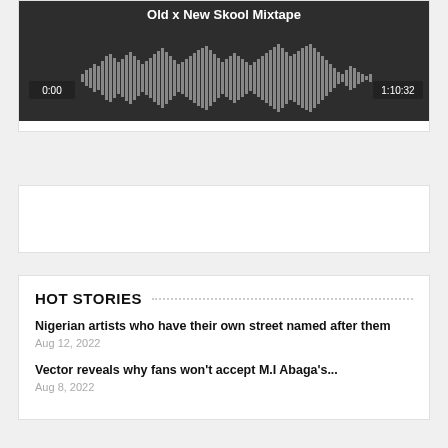[Figure (other): Audio waveform player showing 'Old x New Skool Mixtape' with timestamps 0:00 and 1:10:32 on a dark background]
[Figure (other): Empty white card / advertisement placeholder]
HOT STORIES
Nigerian artists who have their own street named after them
Aug 12, 2022
Vector reveals why fans won't accept M.I Abaga's...
Aug 8, 2022